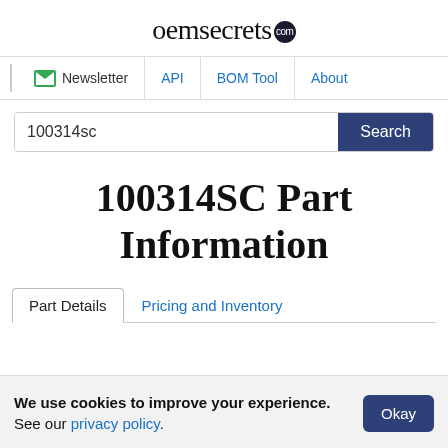oemsecrets.com
Newsletter | API | BOM Tool | About
100314sc
100314SC Part Information
Part Details | Pricing and Inventory
We use cookies to improve your experience. See our privacy policy.